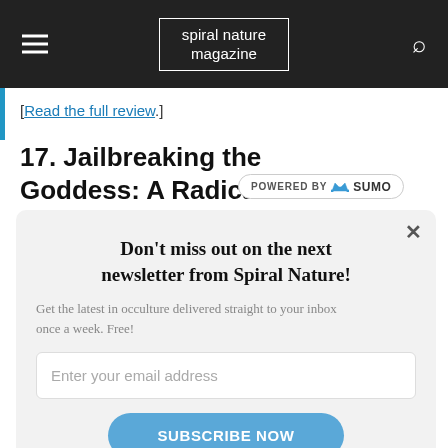spiral nature magazine
[Read the full review.]
17. Jailbreaking the Goddess: A Radical Revisioning of Feminist Spirituality, by Lasara Firefox Allen
[Figure (screenshot): Newsletter subscription modal popup with title 'Don't miss out on the next newsletter from Spiral Nature!', subtitle text, email input field, and SUBSCRIBE NOW button]
Don't miss out on the next newsletter from Spiral Nature!
Get the latest in occulture delivered straight to your inbox once a week. Free!
Enter your email address
SUBSCRIBE NOW